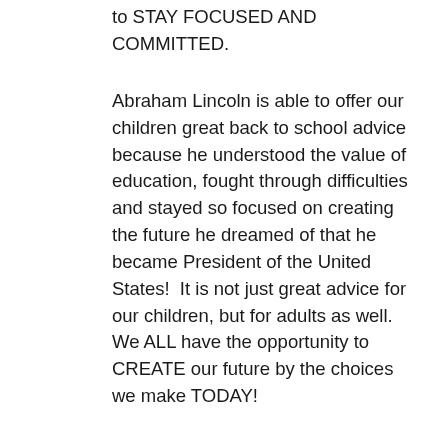to STAY FOCUSED AND COMMITTED.
Abraham Lincoln is able to offer our children great back to school advice because he understood the value of education, fought through difficulties and stayed so focused on creating the future he dreamed of that he became President of the United States!  It is not just great advice for our children, but for adults as well.  We ALL have the opportunity to CREATE our future by the choices we make TODAY!